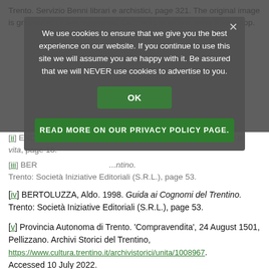Trento. Servizio Benni librari e archistici, page 321. The original image is greyscale; I have highlighted Cavareno in yellow using Photoshop.
We use cookies to ensure that we give you the best experience on our website. If you continue to use this site we will assume you are happy with it. Be assured that we will NEVER use cookies to advertise to you.
OK
READ MORE ON OUR PRIVACY POLICY PAGE.
[ii] ENDRIZZI, Cristoforo. ...reno: spunti di paesaggio di storia e di vita, page 18.
[iii] BER... ...ntino. Trento: Società Iniziative Editoriali (S.R.L.), page 53.
[iv] BERTOLUZZA, Aldo. 1998. Guida ai Cognomi del Trentino. Trento: Società Iniziative Editoriali (S.R.L.), page 53.
[v] Provincia Autonoma di Trento. 'Compravendita', 24 August 1501, Pellizzano. Archivi Storici del Trentino, https://www.cultura.trentino.it/archivistorici/unita/1008967. Accessed 10 July 2022.
[vi] The Pellizzano baptismal records start in 1626, marriages